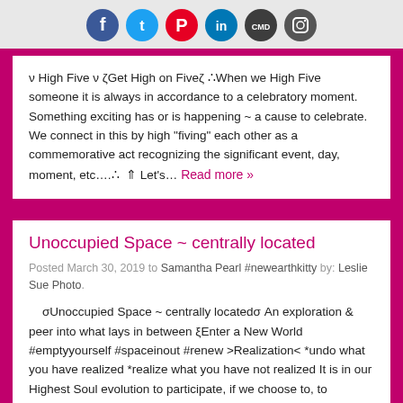[Social media icons: Facebook, Twitter, Pinterest, LinkedIn, CMD, Instagram]
ν High Five ν ζGet High on Fiveζ ∴When we High Five someone it is always in accordance to a celebratory moment. Something exciting has or is happening ~ a cause to celebrate.  We connect in this by high "fiving" each other as a commemorative act recognizing the significant event, day, moment, etc….∴  ⇑ Let's… Read more »
Unoccupied Space ~ centrally located
Posted March 30, 2019 to Samantha Pearl #newearthkitty by: Leslie Sue Photo.
σUnoccupied Space ~ centrally locatedσ An exploration & peer into what lays in between ξEnter a New World #emptyyourself #spaceinout #renew >Realization< *undo what you have realized *realize what you have not realized It is in our Highest Soul evolution to participate, if we choose to, to